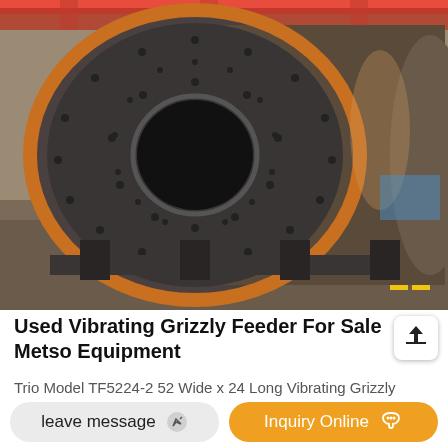[Figure (photo): Large industrial cylindrical drum/mill (rotary drum or ball mill) lying horizontally in a factory/warehouse setting. The front face shows a large circular opening with a smaller circular hole in the center, studded with bolts arranged in a pattern. The drum has an orange/copper colored rim. It is mounted on a heavy metal support frame/cradle on the shop floor. Red overhead crane structures visible in background.]
Used Vibrating Grizzly Feeder For Sale Metso Equipment
Trio Model TF5224-2 52 Wide x 24 Long Vibrating Grizzly